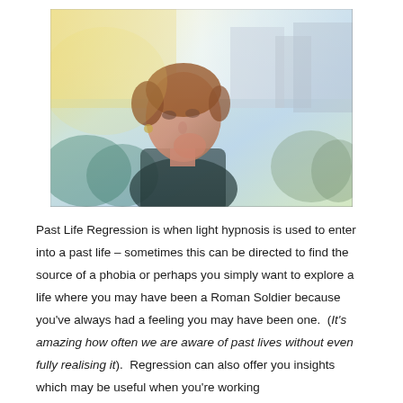[Figure (photo): A woman with a contemplative expression, hand near chin, shown in a double-exposure style with colorful abstract background featuring yellow, teal, and blue tones]
Past Life Regression is when light hypnosis is used to enter into a past life – sometimes this can be directed to find the source of a phobia or perhaps you simply want to explore a life where you may have been a Roman Soldier because you've always had a feeling you may have been one.  (It's amazing how often we are aware of past lives without even fully realising it).  Regression can also offer you insights which may be useful when you're working